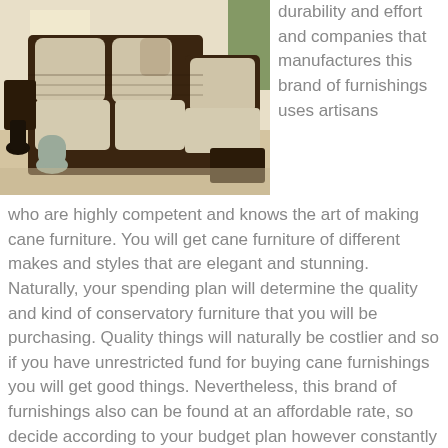[Figure (photo): A sectional sofa with woven rattan/cane dark frame and light beige cushions, with two decorative vases on the floor beside it, in a living room setting.]
durability and effort and companies that manufactures this brand of furnishings uses artisans who are highly competent and knows the art of making cane furniture. You will get cane furniture of different makes and styles that are elegant and stunning. Naturally, your spending plan will determine the quality and kind of conservatory furniture that you will be purchasing. Quality things will naturally be costlier and so if you have unrestricted fund for buying cane furnishings you will get good things. Nevertheless, this brand of furnishings also can be found at an affordable rate, so decide according to your budget plan however constantly keep in mind that “resilience” must be